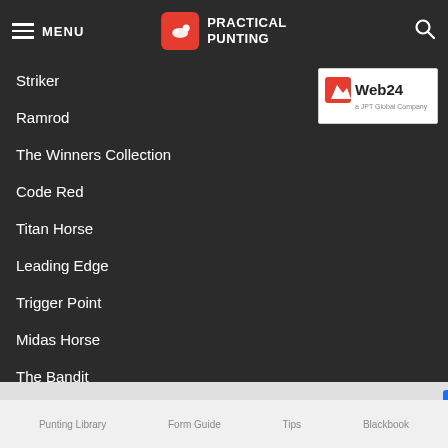MENU | PRACTICAL PUNTING
[Figure (logo): Web24 logo - a JPT Global Company]
Striker
Ramrod
The Winners Collection
Code Red
Titan Horse
Leading Edge
Trigger Point
Midas Horse
The Bandit
Zoom
Platinum Position
Buccaneer
Maximum Money
Zip Force
Golden Edge (partial)
Punting Library   Form Guide   Tips   Blackbook